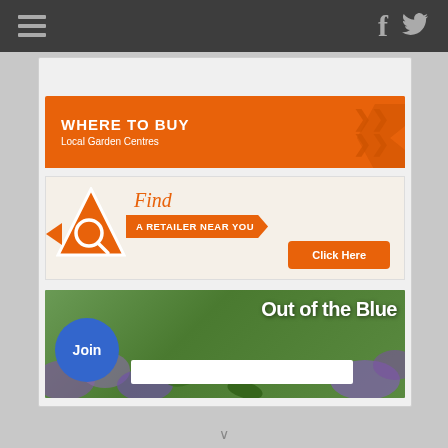Navigation bar with hamburger menu, Facebook and Twitter icons
[Figure (infographic): WHERE TO BUY - Local Garden Centres banner with orange chevron design]
[Figure (infographic): Find a Retailer Near You - with search icon, orange ribbon, and Click Here button]
[Figure (infographic): Out of the Blue - join newsletter banner with floral background, blue join circle, and email input field]